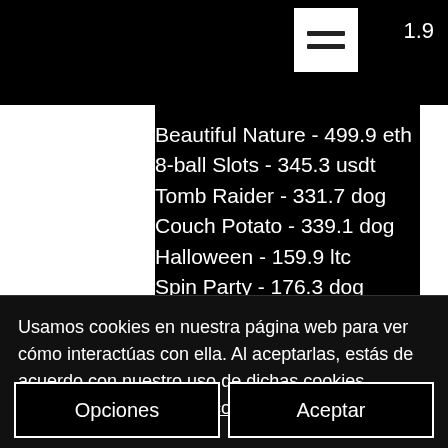Beautiful Nature - 499.9 eth
8-ball Slots - 345.3 usdt
Tomb Raider - 331.7 dog
Couch Potato - 339.1 dog
Halloween - 159.9 ltc
Spin Party - 176.3 dog
God of Fortune - 437.6 eth
Fountain of Fortune - 721.9 eth
Diamond Cherries - 568.4 bch
Super Duper Cherry - 236.3 usdt
Usamos cookies en nuestra página web para ver cómo interactúas con ella. Al aceptarlas, estás de acuerdo con nuestro uso de dichas cookies. https://www.eammexico.com/politicadepriv
Opciones
Aceptar